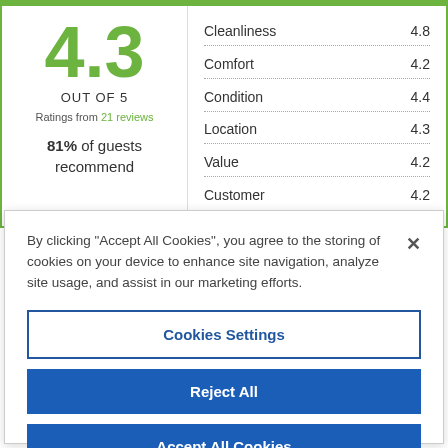4.3
OUT OF 5
Ratings from 21 reviews
81% of guests recommend
| Category | Score |
| --- | --- |
| Cleanliness | 4.8 |
| Comfort | 4.2 |
| Condition | 4.4 |
| Location | 4.3 |
| Value | 4.2 |
| Customer | 4.2 |
By clicking "Accept All Cookies", you agree to the storing of cookies on your device to enhance site navigation, analyze site usage, and assist in our marketing efforts.
Cookies Settings
Reject All
Accept All Cookies